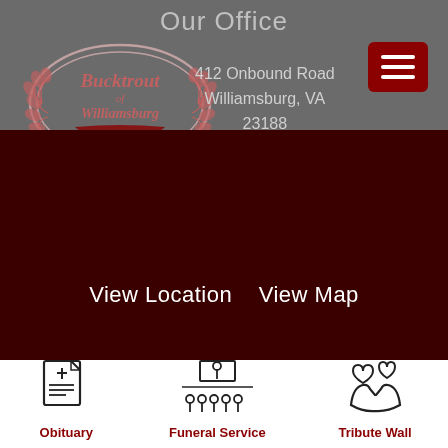Our Office
[Figure (logo): Bucktrout of Williamsburg Funeral Service circular logo with laurel branches, top of page]
[Figure (other): Dark red hamburger menu button with three white lines]
412 Onbound Road
Williamsburg, VA
23188
View Location   View Map
[Figure (logo): Bucktrout of Williamsburg circular logo on dark red background, lower portion of page]
[Figure (other): Obituary icon - document with cross]
Obituary
[Figure (other): Funeral Service icon - podium with audience]
Funeral Service
[Figure (other): Tribute Wall icon - hands holding two hearts]
Tribute Wall